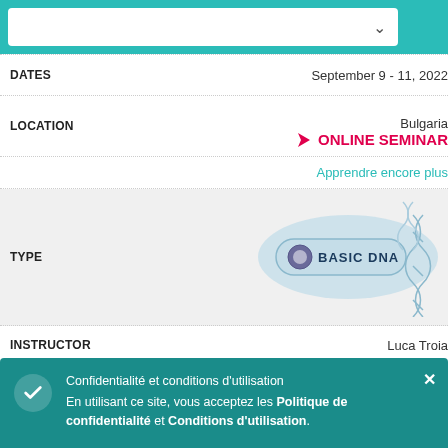[Figure (screenshot): Teal top bar with white dropdown box and chevron arrow]
| Field | Value |
| --- | --- |
| DATES | September 9 - 11, 2022 |
| LOCATION | Bulgaria / ONLINE SEMINAR |
|  | Apprendre encore plus |
| TYPE | BASIC DNA |
| INSTRUCTOR | Luca Troia |
| DATES | September 9 - 11, 2022 |
| LOCATION | Italy / ONLINE SEMINAR |
|  | Apprendre encore plus |
Confidentialité et conditions d'utilisation En utilisant ce site, vous acceptez les Politique de confidentialité et Conditions d'utilisation.